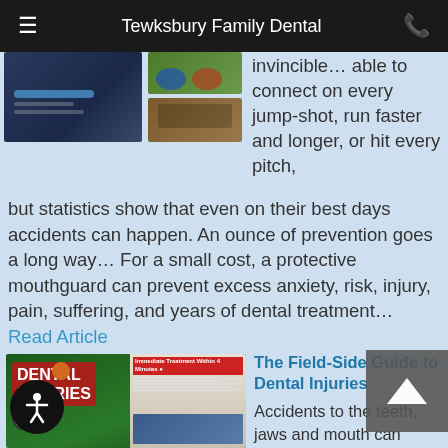Tewksbury Family Dental
invincible… able to connect on every jump-shot, run faster and longer, or hit every pitch, but statistics show that even on their best days accidents can happen. An ounce of prevention goes a long way… For a small cost, a protective mouthguard can prevent excess anxiety, risk, injury, pain, suffering, and years of dental treatment… Read Article
[Figure (photo): Sports injury related photos including athlete and soccer players]
[Figure (photo): Dental Injuries field guide magazine cover showing sports equipment on grass field]
The Field-Side Guide to Dental Injuries
Accidents to the teeth, jaws and mouth can happen at any time